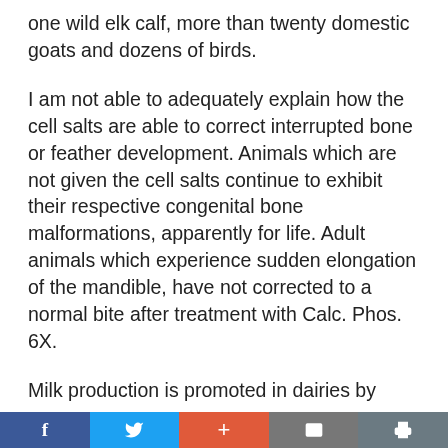one wild elk calf, more than twenty domestic goats and dozens of birds.
I am not able to adequately explain how the cell salts are able to correct interrupted bone or feather development. Animals which are not given the cell salts continue to exhibit their respective congenital bone malformations, apparently for life. Adult animals which experience sudden elongation of the mandible, have not corrected to a normal bite after treatment with Calc. Phos. 6X.
Milk production is promoted in dairies by
Facebook | Twitter | + | Mail | Print